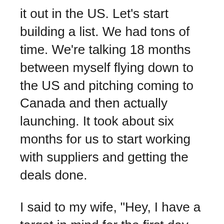it out in the US. Let's start building a list. We had tons of time. We're talking 18 months between myself flying down to the US and pitching coming to Canada and then actually launching. It took about six months for us to start working with suppliers and getting the deals done.
I said to my wife, "Hey, I have a target in mind for the first day when we launch. We don't know when it is. There are so many moving parts. Let's start building lists now." I've already built out the Shopify site. I tried to make it as consistent as it was in the US. I started building out campaigns on Facebook to get